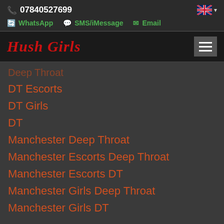07840527699
WhatsApp  SMS/iMessage  Email
Hush Girls
Deep Throat
DT Escorts
DT Girls
DT
Manchester Deep Throat
Manchester Escorts Deep Throat
Manchester Escorts DT
Manchester Girls Deep Throat
Manchester Girls DT
FBSM - Full Body Sensual Massage